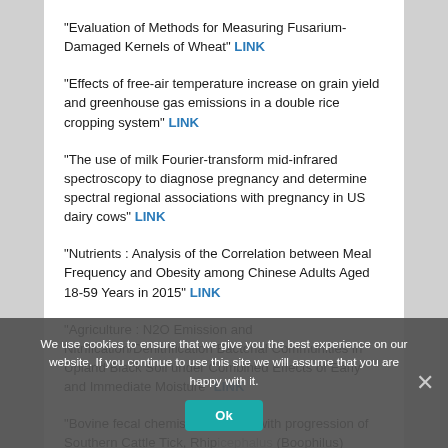“Evaluation of Methods for Measuring Fusarium-Damaged Kernels of Wheat” LINK
“Effects of free-air temperature increase on grain yield and greenhouse gas emissions in a double rice cropping system” LINK
“The use of milk Fourier-transform mid-infrared spectroscopy to diagnose pregnancy and determine spectral regional associations with pregnancy in US dairy cows” LINK
“Nutrients : Analysis of the Correlation between Meal Frequency and Obesity among Chinese Adults Aged 18-59 Years in 2015” LINK
“Agriculture : N2O Emission and Nitrification/Denitrification Bacterial Communities in Upland Black Soil under Combined Effects of Early and Immediate Moisture” LINK
“Bovine fecal chemistry changes with progression of Southern Cattle Tick, Rhipicephalus (Boophilus) microplus (Acari: Ixodidae) infestation” LINK
We use cookies to ensure that we give you the best experience on our website. If you continue to use this site we will assume that you are happy with it.